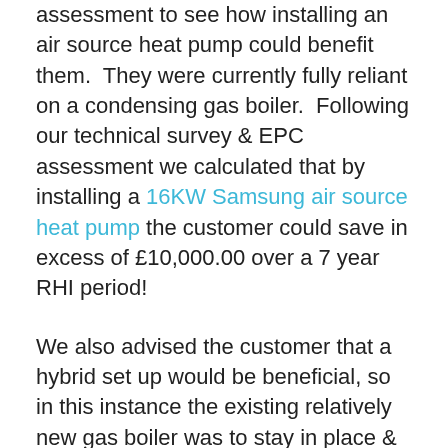assessment to see how installing an air source heat pump could benefit them.  They were currently fully reliant on a condensing gas boiler.  Following our technical survey & EPC assessment we calculated that by installing a 16KW Samsung air source heat pump the customer could save in excess of £10,000.00 over a 7 year RHI period!
We also advised the customer that a hybrid set up would be beneficial, so in this instance the existing relatively new gas boiler was to stay in place & the system will automatically switch over from the heat pump in the event that the temperature drops below 2 degrees celcius.  This meant that the customer did not need to upgrade all of their radiators & kept disruption to a minimum, plus there is always the option to remove the gas boiler in the future & allow the heat pump to provide all